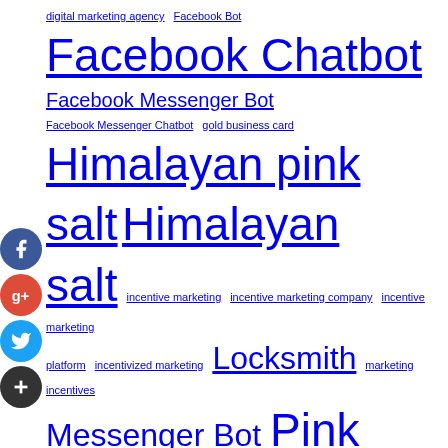digital marketing agency  Facebook Bot  Facebook Chatbot  Facebook Messenger Bot  Facebook Messenger Chatbot  gold business card  Himalayan pink salt  Himalayan salt  incentive marketing  incentive marketing company  incentive marketing platform  incentivized marketing  Locksmith  marketing incentives  Messenger Bot  Pink Himalayan salt  Pink salt  pure Dead Sea salt  Responsive Web Design  root canal dentist  time clock machine  treatment  truffle salt  truffle sea salt  web design company  web design services  Website Designer Near Me  what causes bed bugs  what do bed bugs look like  wine